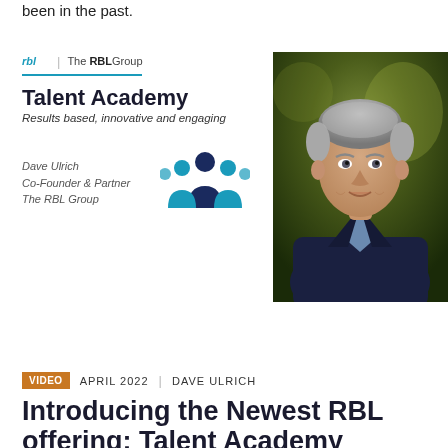been in the past.
[Figure (illustration): RBL Group Talent Academy promotional card showing logo, title 'Talent Academy', subtitle 'Results based, innovative and engaging', author Dave Ulrich Co-Founder & Partner The RBL Group, and a group of people icon]
[Figure (photo): Professional headshot of Dave Ulrich, an older gentleman with grey hair wearing a dark blazer and blue shirt, photographed against a blurred outdoor background]
VIDEO   APRIL 2022  |  DAVE ULRICH
Introducing the Newest RBL offering: Talent Academy